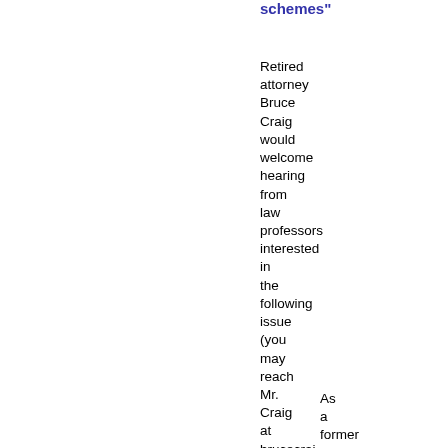schemes"
Retired attorney Bruce Craig would welcome hearing from law professors interested in the following issue (you may reach Mr. Craig at brucecrai-at-gmail-dot-com):
As a former